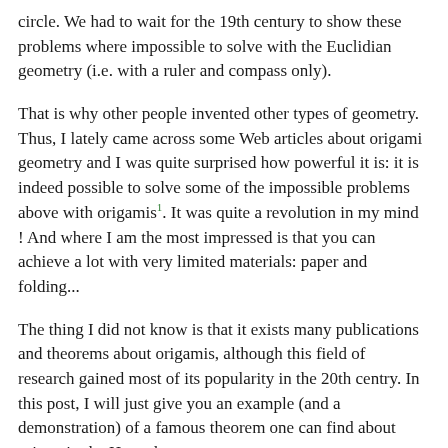circle. We had to wait for the 19th century to show these problems where impossible to solve with the Euclidian geometry (i.e. with a ruler and compass only).
That is why other people invented other types of geometry. Thus, I lately came across some Web articles about origami geometry and I was quite surprised how powerful it is: it is indeed possible to solve some of the impossible problems above with origamis¹. It was quite a revolution in my mind ! And where I am the most impressed is that you can achieve a lot with very limited materials: paper and folding...
The thing I did not know is that it exists many publications and theorems about origamis, although this field of research gained most of its popularity in the 20th centry. In this post, I will just give you an example (and a demonstration) of a famous theorem one can find about origami : the Haga theorem.